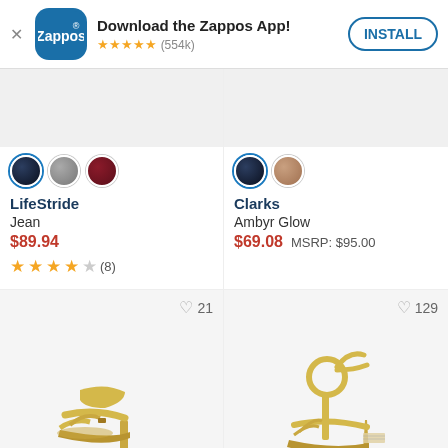[Figure (screenshot): Zappos app download banner with logo, star rating (554k reviews), and INSTALL button]
[Figure (photo): Partial shoe product image (top cut off) with 3 color swatches: dark navy, grey, burgundy]
LifeStride
Jean
$89.94
★★★★☆ (8)
[Figure (photo): Partial shoe product image (top cut off) with 2 color swatches: dark navy, rose gold]
Clarks
Ambyr Glow
$69.08  MSRP: $95.00
[Figure (photo): Gold strappy heeled sandal, wishlist count 21]
[Figure (photo): Gold ankle-wrap strappy heeled sandal, wishlist count 129]